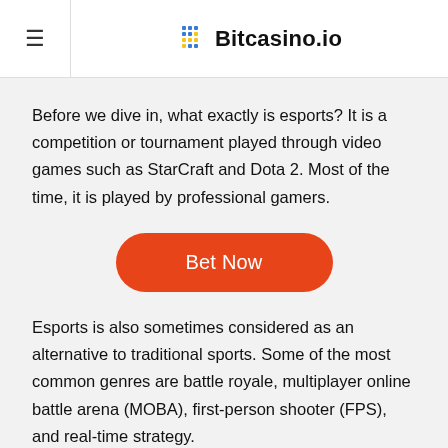Bitcasino.io
Before we dive in, what exactly is esports? It is a competition or tournament played through video games such as StarCraft and Dota 2. Most of the time, it is played by professional gamers.
[Figure (other): Orange rounded rectangle button with white text reading 'Bet Now']
Esports is also sometimes considered as an alternative to traditional sports. Some of the most common genres are battle royale, multiplayer online battle arena (MOBA), first-person shooter (FPS), and real-time strategy.